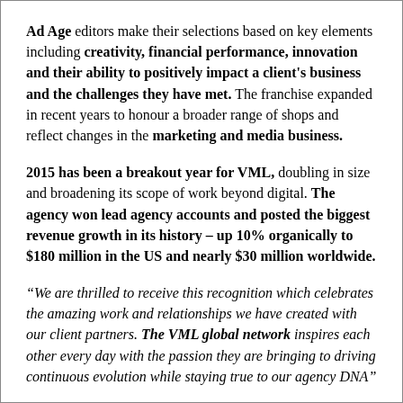Ad Age editors make their selections based on key elements including creativity, financial performance, innovation and their ability to positively impact a client's business and the challenges they have met. The franchise expanded in recent years to honour a broader range of shops and reflect changes in the marketing and media business.
2015 has been a breakout year for VML, doubling in size and broadening its scope of work beyond digital. The agency won lead agency accounts and posted the biggest revenue growth in its history – up 10% organically to $180 million in the US and nearly $30 million worldwide.
“We are thrilled to receive this recognition which celebrates the amazing work and relationships we have created with our client partners. The VML global network inspires each other every day with the passion they are bringing to driving continuous evolution while staying true to our agency DNA”